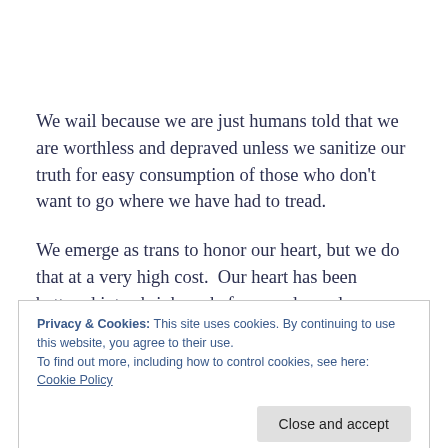We wail because we are just humans told that we are worthless and depraved unless we sanitize our truth for easy consumption of those who don’t want to go where we have had to tread.
We emerge as trans to honor our heart, but we do that at a very high cost.  Our heart has been battered into shrinkage before we do, and even after we are
Privacy & Cookies: This site uses cookies. By continuing to use this website, you agree to their use.
To find out more, including how to control cookies, see here: Cookie Policy
silenced him.